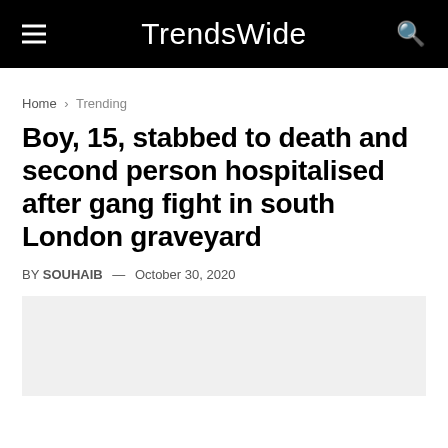TrendsWide
Home › Trending
Boy, 15, stabbed to death and second person hospitalised after gang fight in south London graveyard
BY SOUHAIB — October 30, 2020
[Figure (photo): Light grey image placeholder area below the byline]